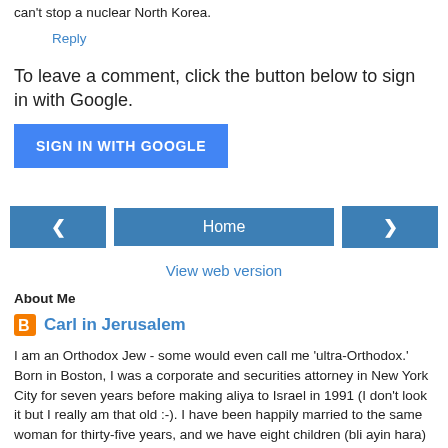can't stop a nuclear North Korea.
Reply
To leave a comment, click the button below to sign in with Google.
SIGN IN WITH GOOGLE
Home
View web version
About Me
Carl in Jerusalem
I am an Orthodox Jew - some would even call me 'ultra-Orthodox.' Born in Boston, I was a corporate and securities attorney in New York City for seven years before making aliya to Israel in 1991 (I don't look it but I really am that old :-). I have been happily married to the same woman for thirty-five years, and we have eight children (bli ayin hara) ranging in age from 13 to 33 years and nine